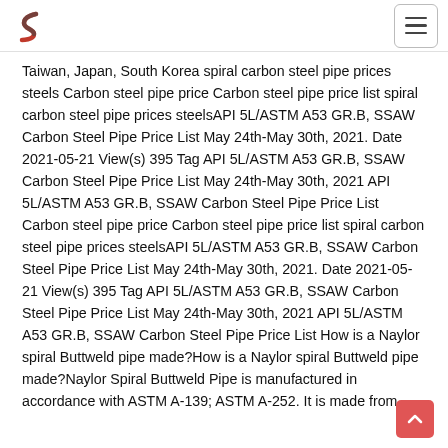Logo and navigation menu
Taiwan, Japan, South Korea spiral carbon steel pipe prices steels Carbon steel pipe price Carbon steel pipe price list spiral carbon steel pipe prices steelsAPI 5L/ASTM A53 GR.B, SSAW Carbon Steel Pipe Price List May 24th-May 30th, 2021. Date 2021-05-21 View(s) 395 Tag API 5L/ASTM A53 GR.B, SSAW Carbon Steel Pipe Price List May 24th-May 30th, 2021 API 5L/ASTM A53 GR.B, SSAW Carbon Steel Pipe Price List Carbon steel pipe price Carbon steel pipe price list spiral carbon steel pipe prices steelsAPI 5L/ASTM A53 GR.B, SSAW Carbon Steel Pipe Price List May 24th-May 30th, 2021. Date 2021-05-21 View(s) 395 Tag API 5L/ASTM A53 GR.B, SSAW Carbon Steel Pipe Price List May 24th-May 30th, 2021 API 5L/ASTM A53 GR.B, SSAW Carbon Steel Pipe Price List How is a Naylor spiral Buttweld pipe made?How is a Naylor spiral Buttweld pipe made?Naylor Spiral Buttweld Pipe is manufactured in accordance with ASTM A-139; ASTM A-252. It is made from